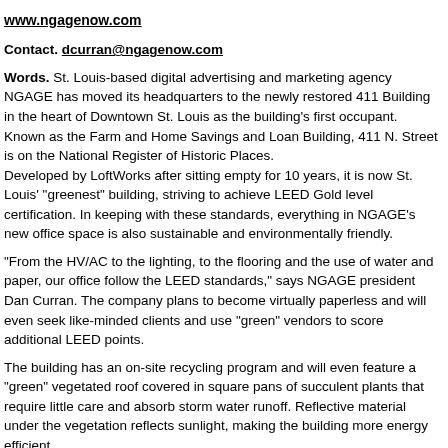www.ngagenow.com
Contact. dcurran@ngagenow.com
Words. St. Louis-based digital advertising and marketing agency NGAGE has moved its headquarters to the newly restored 411 Building in the heart of Downtown St. Louis as the building's first occupant. Known as the Farm and Home Savings and Loan Building, 411 N. Street is on the National Register of Historic Places. Developed by LoftWorks after sitting empty for 10 years, it is now St. Louis' "greenest" building, striving to achieve LEED Gold level certification. In keeping with these standards, everything in NGAGE's new office space is also sustainable and environmentally friendly.
"From the HV/AC to the lighting, to the flooring and the use of water and paper, our office follow the LEED standards," says NGAGE president Dan Curran. The company plans to become virtually paperless and will even seek like-minded clients and use "green" vendors to score additional LEED points.
The building has an on-site recycling program and will even feature a "green" vegetated roof covered in square pans of succulent plants that require little care and absorb storm water runoff. Reflective material under the vegetation reflects sunlight, making the building more energy efficient.
Bike storage, on-site showers and participation in the WeCar vehicle share program to encourage employees to ride to work rather than driving. WeCar is a program offered by Enterprise Rent-a-Car in which nine cars, all hybrids, are parked in designated spots scattered throughout downtown. For a small annual fee, members receive a key fob that gives them access to rent the vehicles by the hour, perfect for employees who are biking